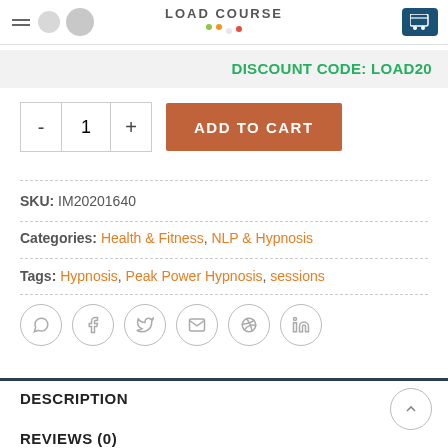LOAD COURSE
DISCOUNT CODE: LOAD20
- 1 + ADD TO CART
SKU: IM20201640
Categories: Health & Fitness, NLP & Hypnosis
Tags: Hypnosis, Peak Power Hypnosis, sessions
[Figure (infographic): Social sharing icons: WhatsApp, Facebook, Twitter, Email, Pinterest, LinkedIn]
DESCRIPTION
REVIEWS (0)